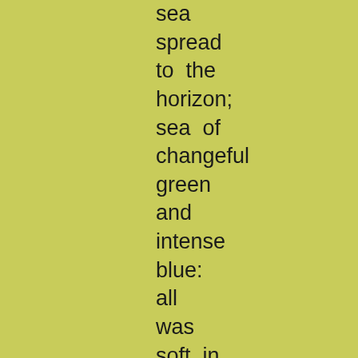sea spread to  the horizon; sea  of changeful green and intense blue: all was soft  in the distance; all vapour-veiled. A